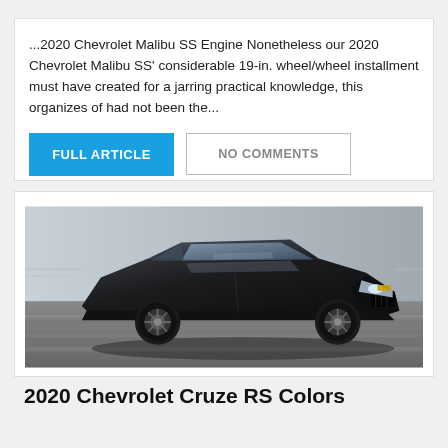...2020 Chevrolet Malibu SS Engine Nonetheless our 2020 Chevrolet Malibu SS' considerable 19-in. wheel/wheel installment must have created for a jarring practical knowledge, this organizes of had not been the...
FULL ARTICLE
NO COMMENTS
[Figure (photo): Black Chevrolet Cruze RS sedan photographed from a front three-quarter angle while driving on a road with motion-blurred background.]
2020 Chevrolet Cruze RS Colors